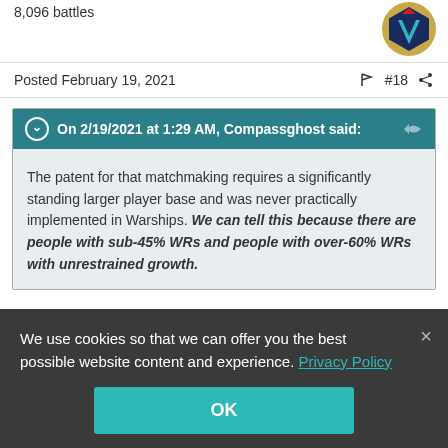8,096 battles
Posted February 19, 2021  #18
On 2/19/2021 at 1:29 AM, Compassghost said:
The patent for that matchmaking requires a significantly standing larger player base and was never practically implemented in Warships. We can tell this because there are people with sub-45% WRs and people with over-60% WRs with unrestrained growth.
We use cookies so that we can offer you the best possible website content and experience. Privacy Policy
OK